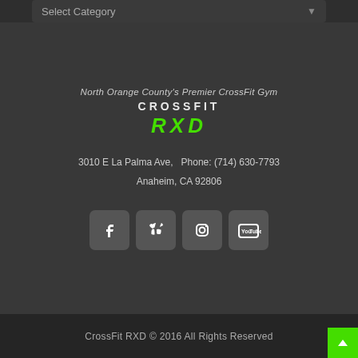[Figure (screenshot): Select Category dropdown UI element]
North Orange County's Premier CrossFit Gym
[Figure (logo): CrossFit RXD logo with CROSSFIT in white bold letters and RXD in green italic letters]
3010 E La Palma Ave,    Phone: (714) 630-7793
Anaheim, CA 92806
[Figure (infographic): Social media icons: Facebook, Yelp, Instagram, YouTube]
CrossFit RXD © 2016 All Rights Reserved